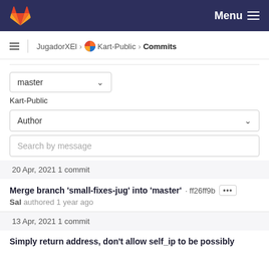GitLab header with logo and Menu button
JugadorXEI > Kart-Public > Commits
master
Kart-Public
Author
Search by message
20 Apr, 2021 1 commit
Merge branch 'small-fixes-jug' into 'master' · ff26ff9b •••
Sal authored 1 year ago
13 Apr, 2021 1 commit
Simply return address, don't allow self_ip to be possibly